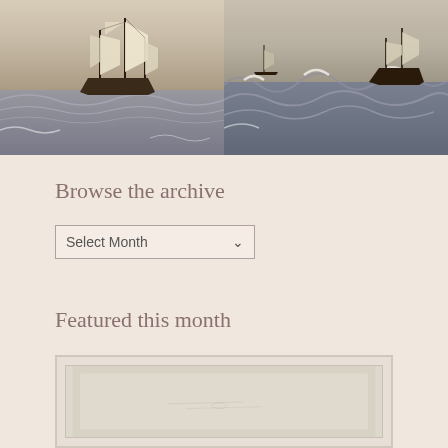[Figure (photo): Two maritime paintings side by side: left shows a sailing ship (frigate) on calm-to-choppy seas; right shows a ship in stormy rough seas with large waves]
Browse the archive
Select Month (dropdown)
Featured this month
[Figure (photo): Featured artwork image — a framed print or drawing on pale/cream paper, visible within a white/light grey frame, content largely blank or faintly sketched]